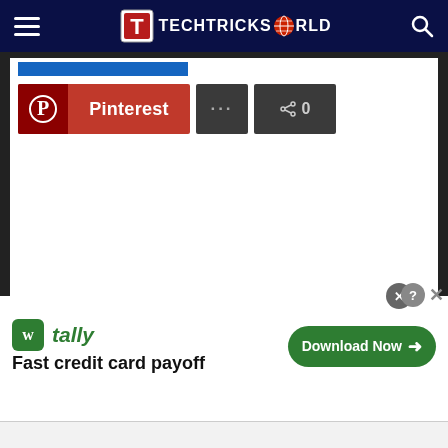TECHTRICKSWORLD
[Figure (screenshot): Social share buttons: Pinterest button, more options (...) button, and share button showing count 0]
[Figure (screenshot): Advertisement banner for Tally app: 'Fast credit card payoff' with Download Now button, and close/help controls]